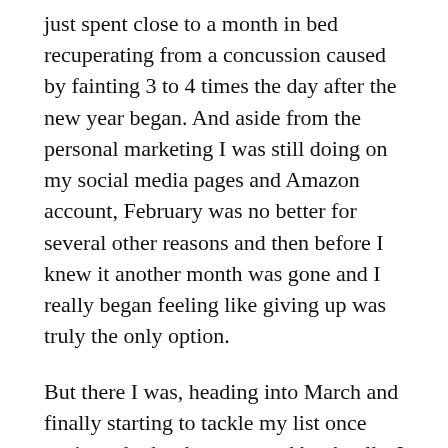just spent close to a month in bed recuperating from a concussion caused by fainting 3 to 4 times the day after the new year began. And aside from the personal marketing I was still doing on my social media pages and Amazon account, February was no better for several other reasons and then before I knew it another month was gone and I really began feeling like giving up was truly the only option.
But there I was, heading into March and finally starting to tackle my list once again and rebook events and book talks I had to cancel because of my concussion and well at this point in time the next one hundred plus days of 2020 need no further explanation. When I decided to